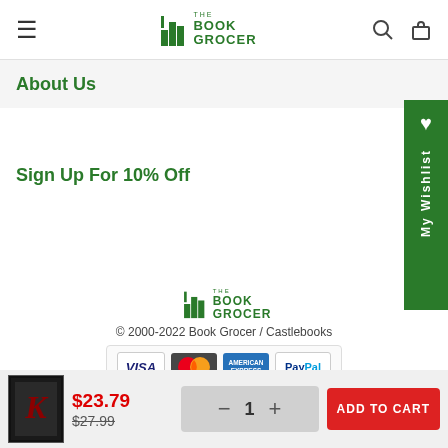THE BOOK GROCER (logo, navigation header)
About Us
Sign Up For 10% Off
[Figure (logo): The Book Grocer logo in footer area]
© 2000-2022 Book Grocer / Castlebooks
[Figure (infographic): Payment method icons: VISA, MasterCard, American Express, PayPal]
$23.79
$27.99